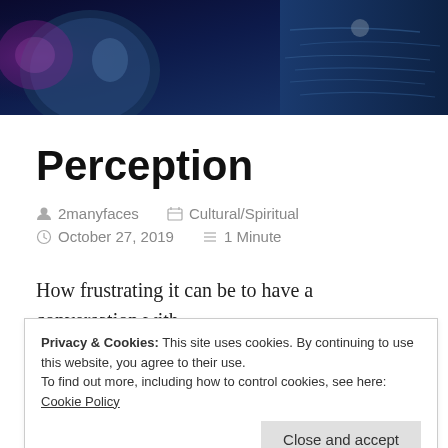[Figure (photo): Dark blue and purple header image with cosmic/earth and water texture background]
Perception
2manyfaces   Cultural/Spiritual
October 27, 2019   1 Minute
How frustrating it can be to have a conversation with
Privacy & Cookies: This site uses cookies. By continuing to use this website, you agree to their use.
To find out more, including how to control cookies, see here: Cookie Policy
we think of the difference we often think of thing like